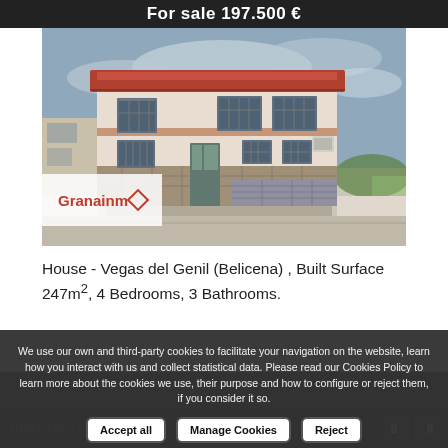For sale 197.500 €
[Figure (photo): Two-storey Spanish villa with terracotta roof tiles, white rendered walls, stone base, barred windows, and a grey garage gate, set on a residential street with an overcast sky.]
Granainm (logo overlay on photo)
House - Vegas del Genil (Belicena) , Built Surface 247m², 4 Bedrooms, 3 Bathrooms.
We use our own and third-party cookies to facilitate your navigation on the website, learn how you interact with us and collect statistical data. Please read our Cookies Policy to learn more about the cookies we use, their purpose and how to configure or reject them, if you consider it so.
Accept all | Manage Cookies | Reject
QUESTION?
1  2  8  9